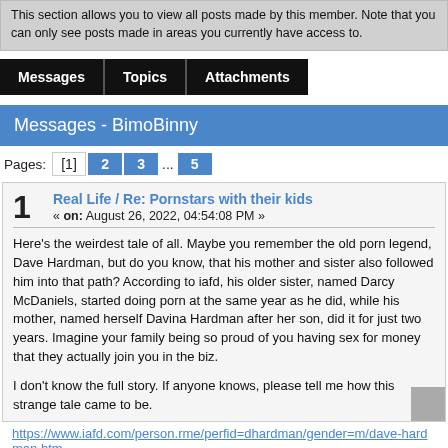This section allows you to view all posts made by this member. Note that you can only see posts made in areas you currently have access to.
Messages   Topics   Attachments
Messages - BimoBinny
Pages: [1] 2 3 ... 5
1  Real Life / Re: Pornstars with their kids
« on: August 26, 2022, 04:54:08 PM »
Here's the weirdest tale of all. Maybe you remember the old porn legend, Dave Hardman, but do you know, that his mother and sister also followed him into that path? According to iafd, his older sister, named Darcy McDaniels, started doing porn at the same year as he did, while his mother, named herself Davina Hardman after her son, did it for just two years. Imagine your family being so proud of you having sex for money that they actually join you in the biz.

I don't know the full story. If anyone knows, please tell me how this strange tale came to be.
https://www.iafd.com/person.rme/perfid=dhardman/gender=m/dave-hardman.htm
https://www.iafd.com/person.rme/perfid=dmcdaniels/gender=f/darcy-